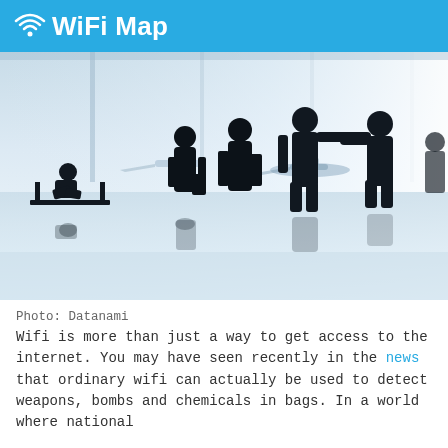WiFi Map
[Figure (photo): Airport terminal silhouettes of travelers walking and two people shaking hands, with aircraft visible through large windows in the background. Reflective floor. Bright backlit scene.]
Photo: Datanami
Wifi is more than just a way to get access to the internet. You may have seen recently in the news that ordinary wifi can actually be used to detect weapons, bombs and chemicals in bags. In a world where national